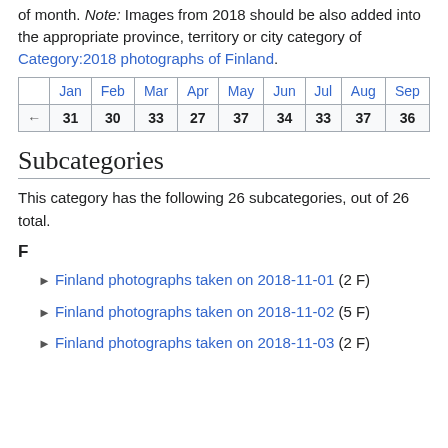of month. Note: Images from 2018 should be also added into the appropriate province, territory or city category of Category:2018 photographs of Finland.
|  | Jan | Feb | Mar | Apr | May | Jun | Jul | Aug | Sep |
| --- | --- | --- | --- | --- | --- | --- | --- | --- | --- |
| ← | 31 | 30 | 33 | 27 | 37 | 34 | 33 | 37 | 36 |
Subcategories
This category has the following 26 subcategories, out of 26 total.
F
Finland photographs taken on 2018-11-01 (2 F)
Finland photographs taken on 2018-11-02 (5 F)
Finland photographs taken on 2018-11-03 (2 F)